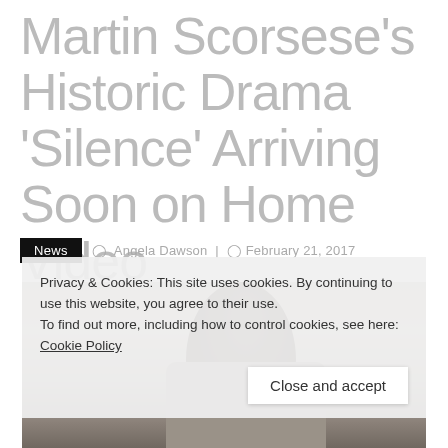Martin Scorsese's Historic Drama 'Silence' Arriving Soon on Home Video
News  Angela Dawson | February 21, 2017
[Figure (photo): A film still or promotional photo from 'Silence', showing a person with dark hair bowed down, partially obscured]
Privacy & Cookies: This site uses cookies. By continuing to use this website, you agree to their use.
To find out more, including how to control cookies, see here: Cookie Policy
Close and accept